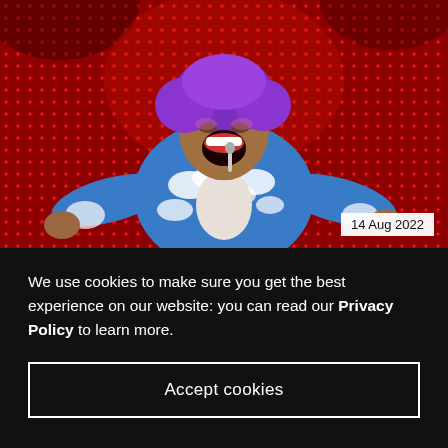[Figure (photo): A performer with purple hair wearing a blue and white cloud-print blazer, mouth open wide in an expressive pose, against a red sequined/glittery backdrop curtain. Date badge reads '14 Aug 2022' in lower right corner.]
We use cookies to make sure you get the best experience on our website: you can read our Privacy Policy to learn more.
Accept cookies